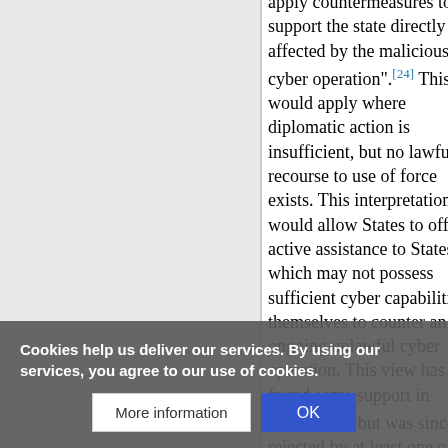apply countermeasures to support the state directly affected by the malicious cyber operation".[24] This would apply where diplomatic action is insufficient, but no lawful recourse to use of force exists. This interpretation would allow States to offer active assistance to States, which may not possess sufficient cyber capabilities themselves to counter an ongoing unlawful cyber operation. This view has found some support in doctrine,[25] but was since rejected by at least one othe
Cookies help us deliver our services. By using our services, you agree to our use of cookies.